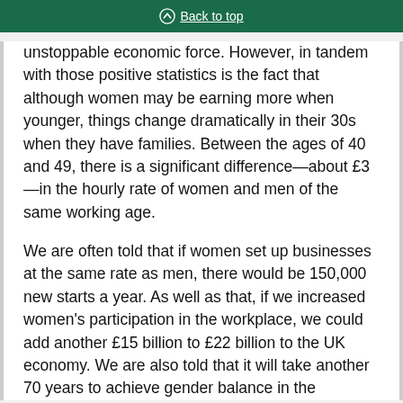Back to top
unstoppable economic force. However, in tandem with those positive statistics is the fact that although women may be earning more when younger, things change dramatically in their 30s when they have families. Between the ages of 40 and 49, there is a significant difference—about £3—in the hourly rate of women and men of the same working age.
We are often told that if women set up businesses at the same rate as men, there would be 150,000 new starts a year. As well as that, if we increased women's participation in the workplace, we could add another £15 billion to £22 billion to the UK economy. We are also told that it will take another 70 years to achieve gender balance in the